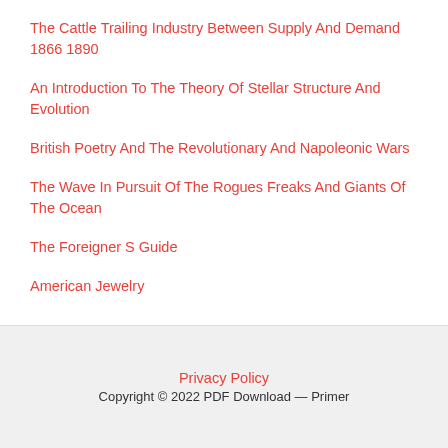The Cattle Trailing Industry Between Supply And Demand 1866 1890
An Introduction To The Theory Of Stellar Structure And Evolution
British Poetry And The Revolutionary And Napoleonic Wars
The Wave In Pursuit Of The Rogues Freaks And Giants Of The Ocean
The Foreigner S Guide
American Jewelry
Privacy Policy
Copyright © 2022 PDF Download — Primer